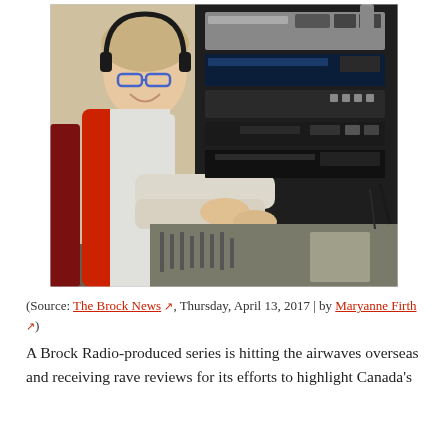[Figure (photo): A woman wearing a red quilted vest, grey long-sleeve shirt, blue-framed glasses, and large black headphones, smiling at the camera while operating a professional audio mixing board in a radio studio. Audio equipment racks are visible in the background.]
(Source: The Brock News, Thursday, April 13, 2017 | by Maryanne Firth)
A Brock Radio-produced series is hitting the airwaves overseas and receiving rave reviews for its efforts to highlight Canada's